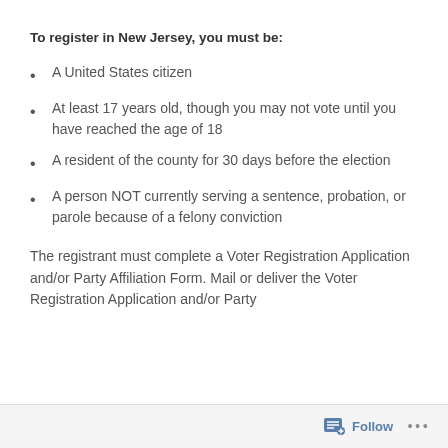To register in New Jersey, you must be:
A United States citizen
At least 17 years old, though you may not vote until you have reached the age of 18
A resident of the county for 30 days before the election
A person NOT currently serving a sentence, probation, or parole because of a felony conviction
The registrant must complete a Voter Registration Application and/or Party Affiliation Form. Mail or deliver the Voter Registration Application and/or Party